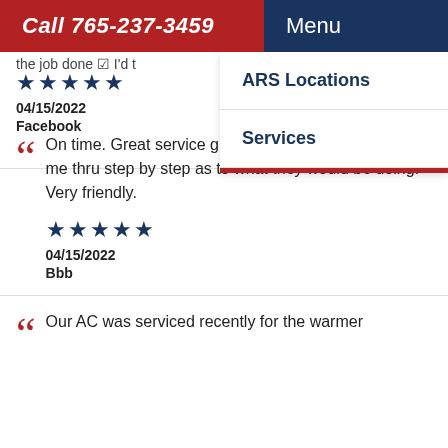Call 765-237-3459  Menu
the job done I'd t
ARS Locations
Services
On time. Great service guy. Diagnosed issue and took me thru step by step as to what they would be doing. Very friendly.
★★★★★ 04/15/2022 Facebook
★★★★★ 04/15/2022 Bbb
Our AC was serviced recently for the warmer